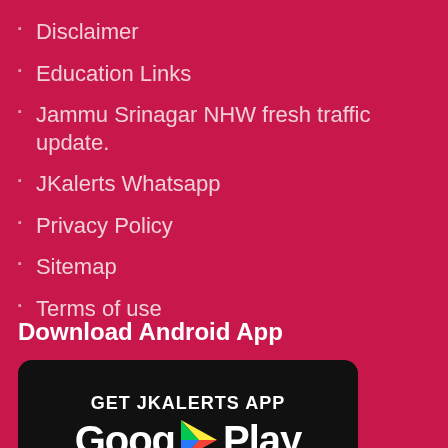Disclaimer
Education Links
Jammu Srinagar NHW fresh traffic update.
JKalerts Whatsapp
Privacy Policy
Sitemap
Terms of use
Download Android App
[Figure (screenshot): Google Play Store app download banner for JKAlerts app, with text 'GET JKALERTS APP', 'Google Play' logo, and 'DOWNLOAD JKALERTS APP' label]